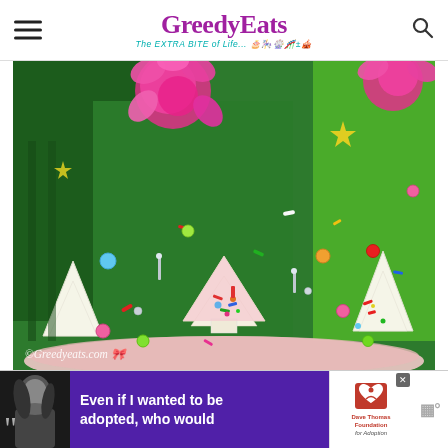GreeedyEats — The EXTRA BITE of Life...
[Figure (photo): Close-up of a decorated Christmas cake with green frosting, pink flower rosettes, colorful sprinkles, sugar pearls, and small Christmas tree sugar cookies on a pink cake stand. Watermark reads ©Greedyeats.com]
[Figure (infographic): Advertisement banner: Black and white photo of woman with quote marks, purple background text reading 'Even if I wanted to be adopted, who would', Dave Thomas Foundation for Adoption logo]